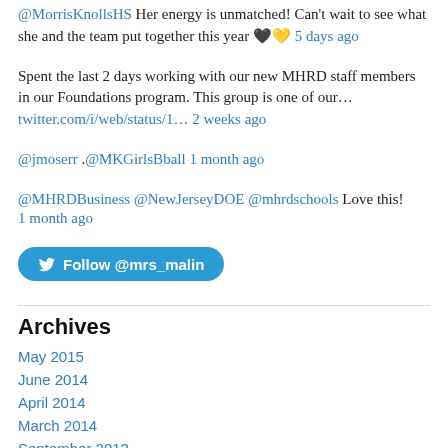@MorrisKnollsHS Her energy is unmatched! Can't wait to see what she and the team put together this year 🖤💛 5 days ago
Spent the last 2 days working with our new MHRD staff members in our Foundations program. This group is one of our… twitter.com/i/web/status/1… 2 weeks ago
@jmoserr .@MKGirlsBball 1 month ago
@MHRDBusiness @NewJerseyDOE @mhrdschools Love this! 1 month ago
[Figure (other): Follow @mrs_malin Twitter button]
Archives
May 2015
June 2014
April 2014
March 2014
September 2013